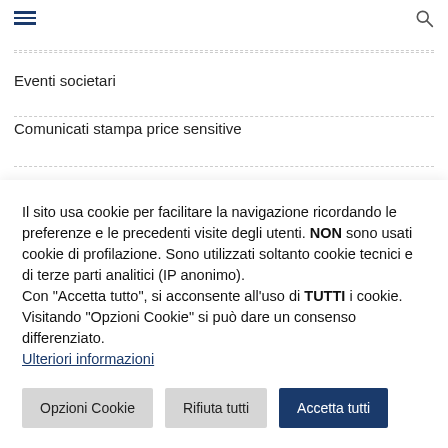Navigation menu and search icon
Eventi societari
Comunicati stampa price sensitive
Il sito usa cookie per facilitare la navigazione ricordando le preferenze e le precedenti visite degli utenti. NON sono usati cookie di profilazione. Sono utilizzati soltanto cookie tecnici e di terze parti analitici (IP anonimo).
Con "Accetta tutto", si acconsente all'uso di TUTTI i cookie. Visitando "Opzioni Cookie" si può dare un consenso differenziato.
Ulteriori informazioni
Opzioni Cookie
Rifiuta tutti
Accetta tutti